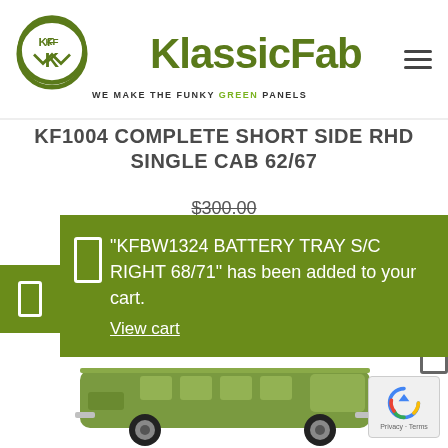KlassicFab — WE MAKE THE FUNKY GREEN PANELS
KF1004 COMPLETE SHORT SIDE RHD SINGLE CAB 62/67
$300.00
"KFBW1324 BATTERY TRAY S/C RIGHT 68/71" has been added to your cart. View cart
[Figure (photo): Green Volkswagen Type 2 single cab bus toy model on white background with KlassicFab watermark logo]